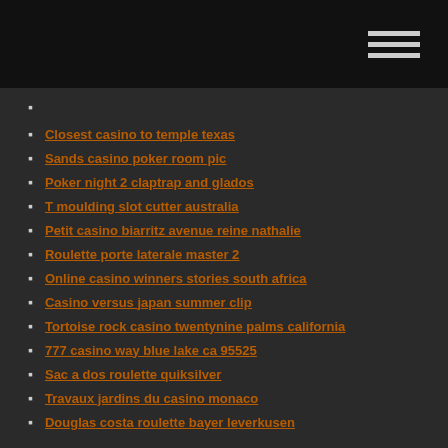Closest casino to temple texas
Sands casino poker room pic
Poker night 2 claptrap and glados
T moulding slot cutter australia
Petit casino biarritz avenue reine nathalie
Roulette porte laterale master 2
Online casino winners stories south africa
Casino versus japan summer clip
Tortoise rock casino twentynine palms california
777 casino way blue lake ca 95525
Sac a dos roulette quiksilver
Travaux jardins du casino monaco
Douglas costa roulette bayer leverkusen